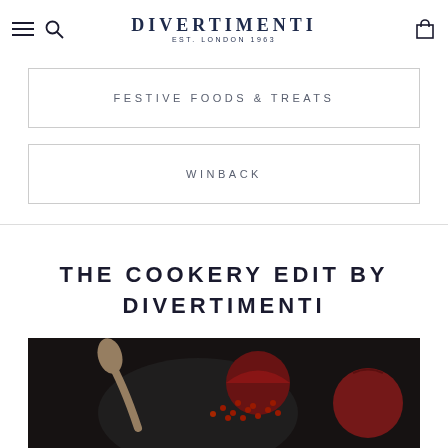DIVERTIMENTI EST. LONDON 1963
FESTIVE FOODS & TREATS
WINBACK
THE COOKERY EDIT BY DIVERTIMENTI
[Figure (photo): Dark food photography showing pomegranate seeds and fruit on a dark plate]